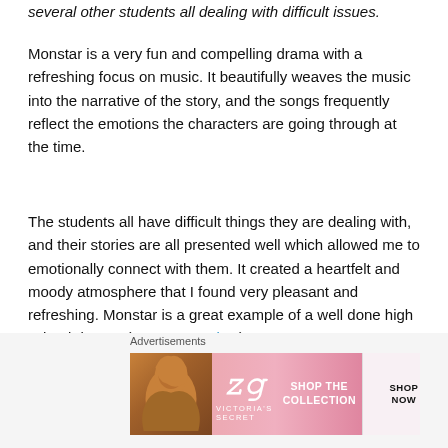several other students all dealing with difficult issues.
Monstar is a very fun and compelling drama with a refreshing focus on music. It beautifully weaves the music into the narrative of the story, and the songs frequently reflect the emotions the characters are going through at the time.
The students all have difficult things they are dealing with, and their stories are all presented well which allowed me to emotionally connect with them. It created a heartfelt and moody atmosphere that I found very pleasant and refreshing. Monstar is a great example of a well done high school drama. (Monstar Review)
Advertisements
[Figure (photo): Victoria's Secret advertisement banner with a woman's photo on the left, VS logo in the center on pink background, and 'SHOP THE COLLECTION / SHOP NOW' text on the right.]